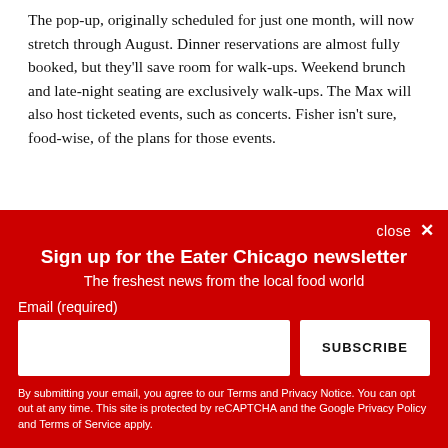The pop-up, originally scheduled for just one month, will now stretch through August. Dinner reservations are almost fully booked, but they'll save room for walk-ups. Weekend brunch and late-night seating are exclusively walk-ups. The Max will also host ticketed events, such as concerts. Fisher isn't sure, food-wise, of the plans for those events.
close ✕
Sign up for the Eater Chicago newsletter
The freshest news from the local food world
Email (required)
SUBSCRIBE
By submitting your email, you agree to our Terms and Privacy Notice. You can opt out at any time. This site is protected by reCAPTCHA and the Google Privacy Policy and Terms of Service apply.